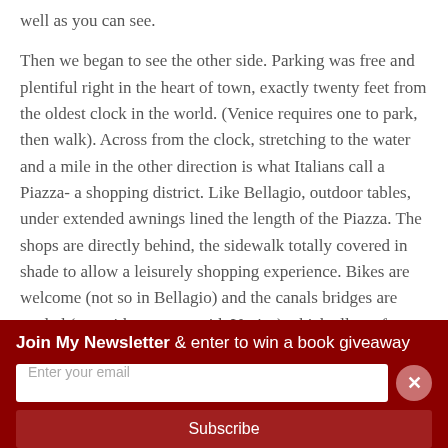well as you can see.
Then we began to see the other side. Parking was free and plentiful right in the heart of town, exactly twenty feet from the oldest clock in the world. (Venice requires one to park, then walk). Across from the clock, stretching to the water and a mile in the other direction is what Italians call a Piazza- a shopping district. Like Bellagio, outdoor tables, under extended awnings lined the length of the Piazza. The shops are directly behind, the sidewalk totally covered in shade to allow a leisurely shopping experience. Bikes are welcome (not so in Bellagio) and the canals bridges are angled (not with steps, as with Venice) which allows for bikes.
Join My Newsletter & enter to win a book giveaway
Enter your email
Subscribe